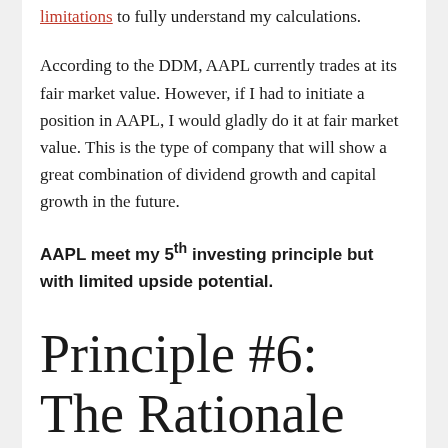limitations to fully understand my calculations.
According to the DDM, AAPL currently trades at its fair market value. However, if I had to initiate a position in AAPL, I would gladly do it at fair market value. This is the type of company that will show a great combination of dividend growth and capital growth in the future.
AAPL meet my 5th investing principle but with limited upside potential.
Principle #6: The Rationale